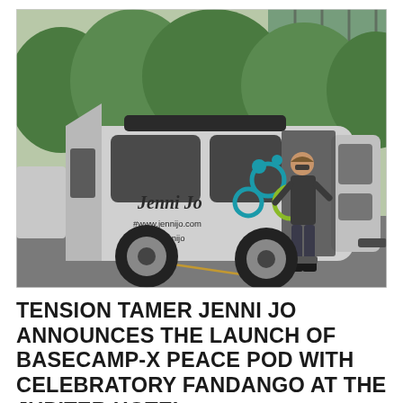[Figure (photo): A silver compact camper trailer branded with 'Jenni Jo' logo, colorful circle graphics, website www.jennijo.com and @hayjennijo. A woman in dark clothing stands in the open side door of the trailer. The trailer is parked in a lot with green trees and a bridge visible in the background.]
TENSION TAMER JENNI JO ANNOUNCES THE LAUNCH OF BASECAMP-X PEACE POD WITH CELEBRATORY FANDANGO AT THE JUPITER HOTEL